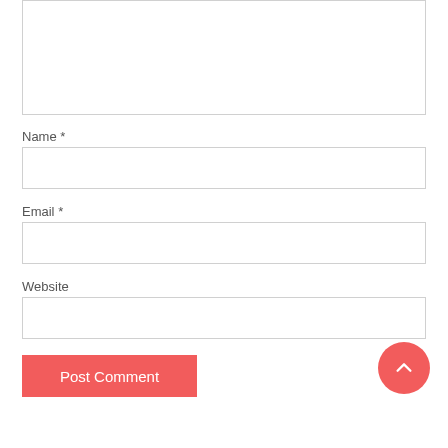[Figure (screenshot): Comment text area input box (empty, bordered)]
Name *
[Figure (screenshot): Name text input field (empty, bordered)]
Email *
[Figure (screenshot): Email text input field (empty, bordered)]
Website
[Figure (screenshot): Website text input field (empty, bordered)]
Post Comment
[Figure (other): Scroll-to-top circular button with upward chevron arrow, coral/salmon color]